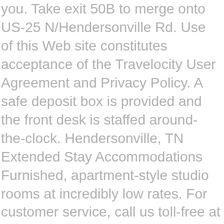you. Take exit 50B to merge onto US-25 N/Hendersonville Rd. Use of this Web site constitutes acceptance of the Travelocity User Agreement and Privacy Policy. A safe deposit box is provided and the front desk is staffed around-the-clock. Hendersonville, TN Extended Stay Accommodations Furnished, apartment-style studio rooms at incredibly low rates. For customer service, call us toll-free at 1-800-397-3342. Stock up on your favorite foods and save money by cooking your own delicious meals in the included kitchenette. By creating an account, I agree to the Expedia. Check out some excellent new shows on the premium channels you don't even have at home. Welcome to the Holiday Inn Express and Suites Hendersonville SE -Flat Rock hotel! Guests will appreciate free perks like on-the-go breakfast and WiFi in public areas. This aparthotel features an indoor pool and a 24-hour fitness center. The Streets of Indian Lake and Drakes Creek Park are also within 9 mi (15 km). (86.4...